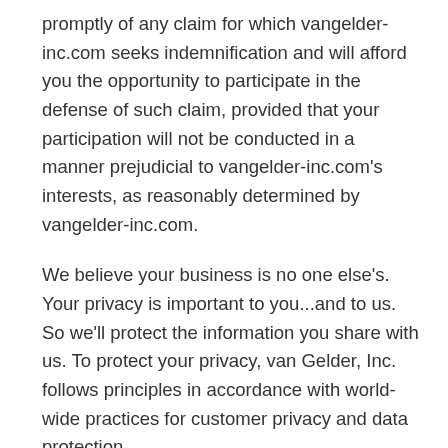promptly of any claim for which vangelder-inc.com seeks indemnification and will afford you the opportunity to participate in the defense of such claim, provided that your participation will not be conducted in a manner prejudicial to vangelder-inc.com's interests, as reasonably determined by vangelder-inc.com.
We believe your business is no one else's. Your privacy is important to you...and to us. So we'll protect the information you share with us. To protect your privacy, van Gelder, Inc. follows principles in accordance with world-wide practices for customer privacy and data protection.
We won't sell or give away your name, mail address, phone number, email address, credit card number or any other information to